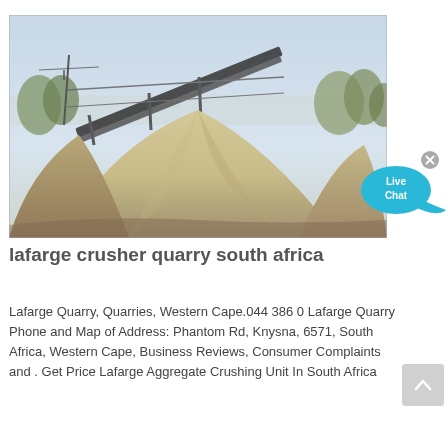[Figure (photo): Photograph of a large aggregate/sand pile at a quarry crushing facility with conveyor belt machinery visible in the background against a hazy sky.]
lafarge crusher quarry south africa
Lafarge Quarry, Quarries, Western Cape.044 386 0 Lafarge Quarry Phone and Map of Address: Phantom Rd, Knysna, 6571, South Africa, Western Cape, Business Reviews, Consumer Complaints and . Get Price Lafarge Aggregate Crushing Unit In South Africa